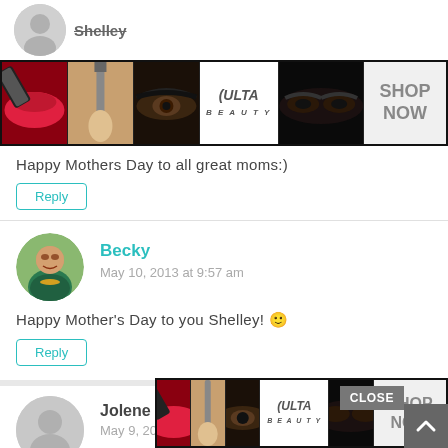[Figure (illustration): Shelley's partial avatar circle and ULTA beauty advertisement banner with makeup images (lips, brush, eyes, Ulta logo, smokey eyes) and SHOP NOW text]
Happy Mothers Day to all great moms:)
Reply
[Figure (photo): Becky's circular avatar photo - woman smiling, brown hair, wearing teal top and yellow necklace]
Becky
May 10, 2013 at 9:57 am
Happy Mother's Day to you Shelley! 🙂
Reply
[Figure (photo): Jolene B's avatar - gray silhouette placeholder]
Jolene B
May 9, 2013 at 9:31 pm
I wou
[Figure (illustration): ULTA beauty advertisement banner with makeup images (lips, brush, eyes, Ulta logo, smokey eyes) and SHOP NOW text, with CLOSE button overlay]
CLOSE
SHOP NOW